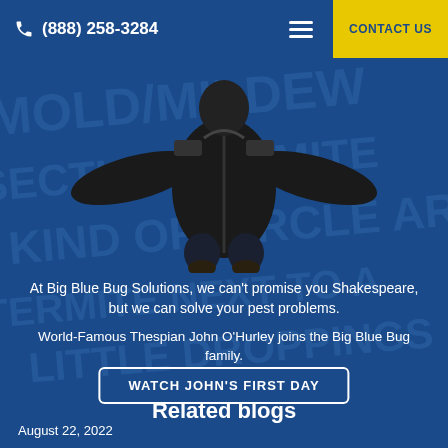(888) 258-3284   CONTACT US
[Figure (photo): A person in a dark jacket photographed from above, standing with arms spread out, viewed from a top-down angle against a blue background with watermark text.]
At Big Blue Bug Solutions, we can't promise you Shakespeare, but we can solve your pest problems.
World-Famous Thespian John O'Hurley joins the Big Blue Bug family.
WATCH JOHN'S FIRST DAY
Related blogs
August 22, 2022